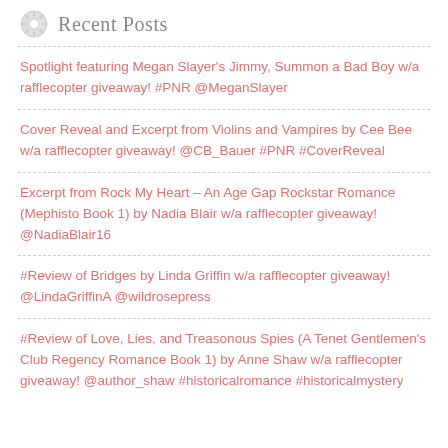Recent Posts
Spotlight featuring Megan Slayer's Jimmy, Summon a Bad Boy w/a rafflecopter giveaway! #PNR @MeganSlayer
Cover Reveal and Excerpt from Violins and Vampires by Cee Bee w/a rafflecopter giveaway! @CB_Bauer #PNR #CoverReveal
Excerpt from Rock My Heart – An Age Gap Rockstar Romance (Mephisto Book 1) by Nadia Blair w/a rafflecopter giveaway! @NadiaBlair16
#Review of Bridges by Linda Griffin w/a rafflecopter giveaway! @LindaGriffinA @wildrosepress
#Review of Love, Lies, and Treasonous Spies (A Tenet Gentlemen's Club Regency Romance Book 1) by Anne Shaw w/a rafflecopter giveaway! @author_shaw #historicalromance #historicalmystery